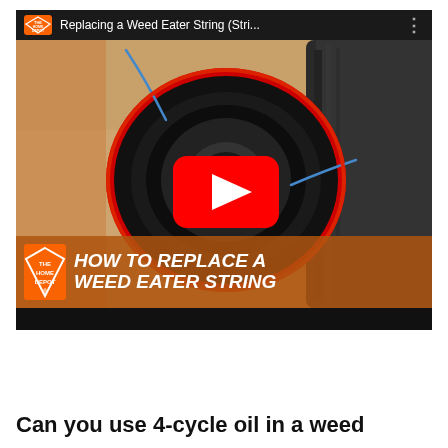[Figure (screenshot): YouTube video thumbnail for 'Replacing a Weed Eater String' from The Home Depot channel. Shows a weed eater spool (black with red ring) with blue trimmer line on a light wood surface. A red YouTube play button is centered on the image. Bottom overlay banner in orange-brown with Home Depot logo on left and white bold italic text reading 'HOW TO REPLACE A WEED EATER STRING'. Top bar shows Home Depot logo, video title 'Replacing a Weed Eater String (Stri...', and three-dots menu icon.]
Can you use 4-cycle oil in a weed